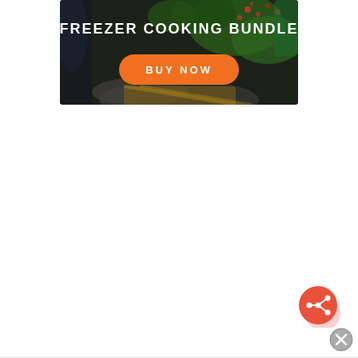[Figure (illustration): Advertisement banner for a Freezer Cooking Bundle. Dark background with food imagery (salad greens, pomegranate seeds, plates, glassware). White bold text reads 'FREEZER COOKING BUNDLE' at the top. An orange pill-shaped button with white text 'BUY NOW' is centered lower in the image.]
[Figure (other): Orange circular share/social button with a share icon (circle with three connected dots) in white, positioned in bottom-right area. A pinkish shadow circle is below-right of it.]
[Figure (other): A gray circular close/X button positioned at the very bottom-right corner of the page.]